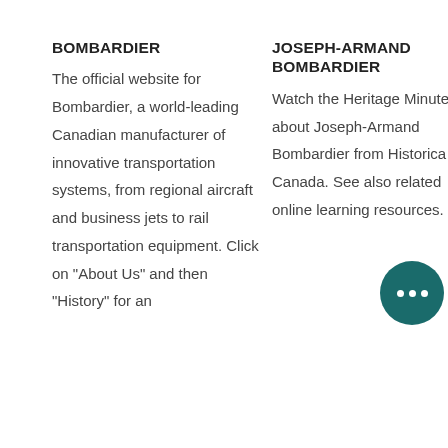BOMBARDIER
The official website for Bombardier, a world-leading Canadian manufacturer of innovative transportation systems, from regional aircraft and business jets to rail transportation equipment. Click on "About Us" and then "History" for an
JOSEPH-ARMAND BOMBARDIER
Watch the Heritage Minute about Joseph-Armand Bombardier from Historica Canada. See also related online learning resources.